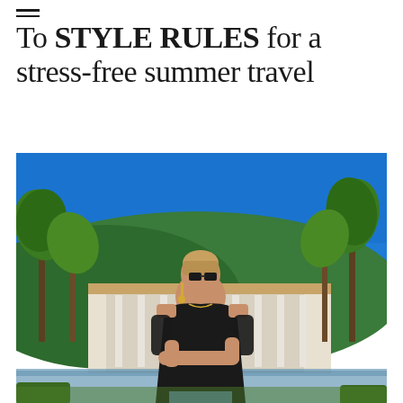To STYLE RULES for a stress-free summer travel
[Figure (photo): A woman with short blonde hair wearing black sunglasses, gold earrings, and a black off-shoulder lace top with jeans, standing in front of a Mediterranean-style building with palm trees under a bright blue sky.]